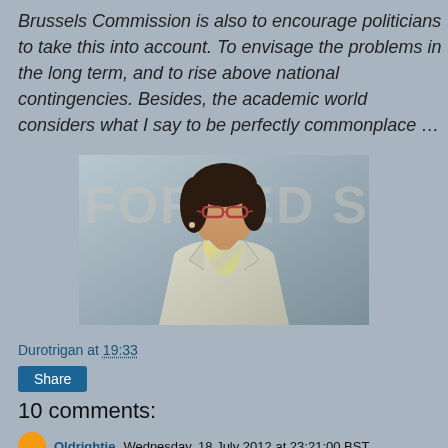Brussels Commission is also to encourage politicians to take this into account. To envisage the problems in the long term, and to rise above national contingencies. Besides, the academic world considers what I say to be perfectly commonplace …
[Figure (photo): A woman with dark hair and glasses wearing a light jacket and yellow-grey scarf, standing in front of a sign that reads 'FORCED S[omething]']
Durotrigan at 19:33
Share
10 comments:
Oldrightie Wednesday, 18 July 2012 at 23:21:00 BST